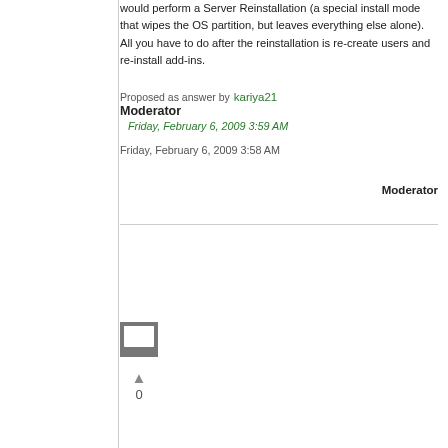would perform a Server Reinstallation (a special install mode that wipes the OS partition, but leaves everything else alone).  All you have to do after the reinstallation is re-create users and re-install add-ins.
Proposed as answer by  kariya21
Moderator
  Friday, February 6, 2009 3:59 AM
Friday, February 6, 2009 3:58 AM
Moderator
[Figure (other): User avatar/profile icon — a grey square with a stylized chat bubble icon]
▲
0